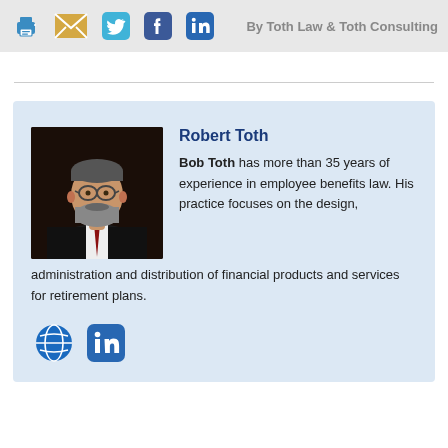By Toth Law & Toth Consulting
[Figure (illustration): Headshot photo of Robert Toth, a bearded man with glasses wearing a dark suit and red tie, against a dark background]
Robert Toth
Bob Toth has more than 35 years of experience in employee benefits law. His practice focuses on the design, administration and distribution of financial products and services for retirement plans.
[Figure (logo): Globe icon (blue) and LinkedIn icon (blue), social media links for Robert Toth]